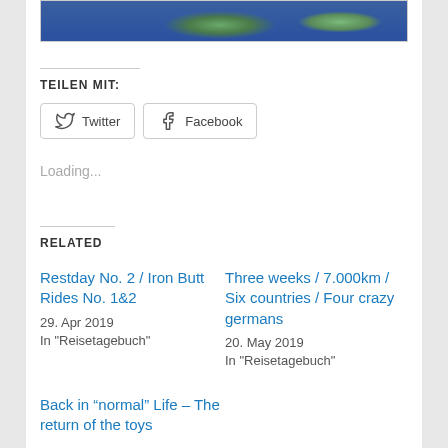[Figure (photo): Satellite/aerial map photo of an island (appears to be Cyprus or similar Mediterranean island) viewed from above, with green land mass and blue ocean surrounding it.]
TEILEN MIT:
Twitter
Facebook
Loading...
RELATED
Restday No. 2 / Iron Butt Rides No. 1&2
29. Apr 2019
In "Reisetagebuch"
Three weeks / 7.000km / Six countries / Four crazy germans
20. May 2019
In "Reisetagebuch"
Back in “normal” Life – The return of the toys